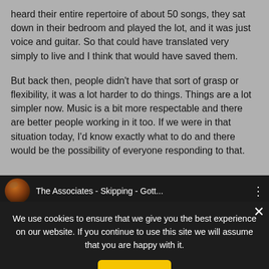heard their entire repertoire of about 50 songs, they sat down in their bedroom and played the lot, and it was just voice and guitar. So that could have translated very simply to live and I think that would have saved them.
But back then, people didn't have that sort of grasp or flexibility, it was a lot harder to do things. Things are a lot simpler now. Music is a bit more respectable and there are better people working in it too. If we were in that situation today, I'd know exactly what to do and there would be the possibility of everyone responding to that.
[Figure (screenshot): A video player bar showing a globe-like thumbnail icon and the title 'The Associates - Skipping - Gott...' with a three-dot menu icon, overlaid by a cookie consent banner with 'Ok' button and a close X.]